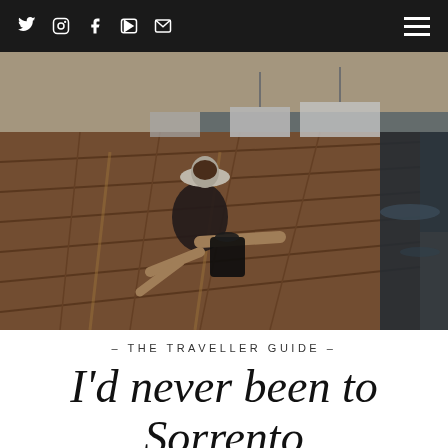Navigation bar with social icons: Twitter, Instagram, Facebook, YouTube, Email, and hamburger menu
[Figure (photo): Woman sitting on a wooden dock/marina boardwalk viewed from behind, wearing dark clothing and a hat with a black handbag beside her, boats visible in the background on the water, warm golden-brown tones]
- THE TRAVELLER GUIDE -
I'd never been to Sorrento before, but the name, the...